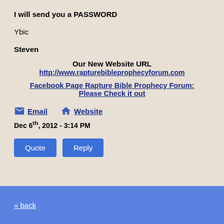I will send you a PASSWORD
Ybic
Steven
Our New Website URL
http://www.rapturebibleprophecyforum.com
Facebook Page Rapture Bible Prophecy Forum: Please Check it out
Email  Website
Dec 6th, 2012 - 3:14 PM
Quote  Reply
« back